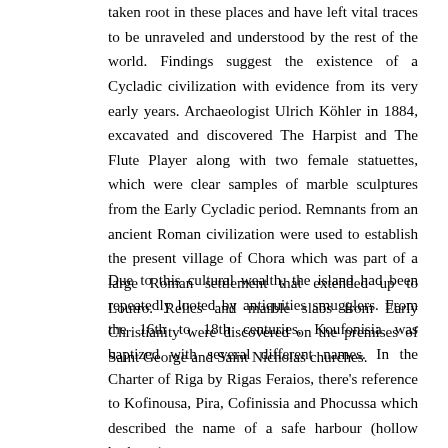taken root in these places and have left vital traces to be unraveled and understood by the rest of the world. Findings suggest the existence of a Cycladic civilization with evidence from its very early years. Archaeologist Ulrich Köhler in 1884, excavated and discovered The Harpist and The Flute Player along with two female statuettes, which were clear samples of marble sculptures from the Early Cycladic period. Remnants from an ancient Roman civilization were used to establish the present village of Chora which was part of a large Roman settlement that extended up to Loutro. Relics and marble slabs from Early Christianity were discovered on the premises of Saint George and Saint Nicholas churches.
Due to this cultural wealth, the island had been repeatedly looted by antiquities smugglers. From the 16th to 18th centuries, Koufonisia was baptized with several different names. In the Charter of Riga by Rigas Feraios, there's reference to Kofinousa, Pira, Cofinissia and Phocussa which described the name of a safe harbour (hollow harbour.)